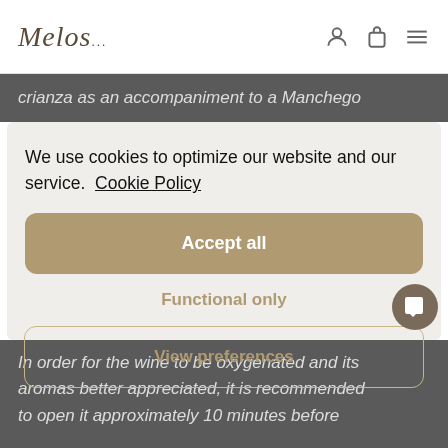Melos — navigation bar with logo and icons
crianza as an accompaniment to a Manchego
We use cookies to optimize our website and our service.  Cookie Policy
Accept all
Functional only
View preferences
In order for the wine to be oxygenated and its aromas better appreciated, it is recommended to open it approximately 10 minutes before